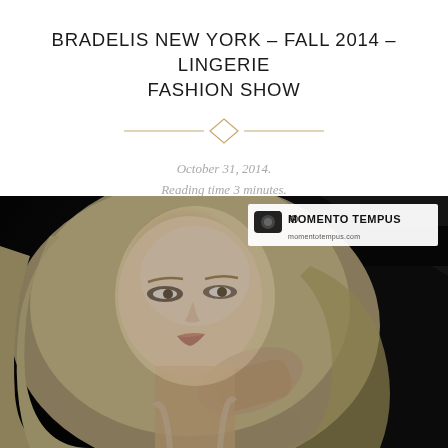BRADELIS NEW YORK – FALL 2014 – LINGERIE FASHION SHOW
[Figure (other): Decorative diamond/rhombus divider with horizontal gold lines on either side]
October 31, 2014.
Reading time 3 minutes.
[Figure (photo): Fashion show photograph by Momento Tempus (momentotempus.com) of a blonde model in lingerie against a dark background, posing with hand near chin blowing a kiss]